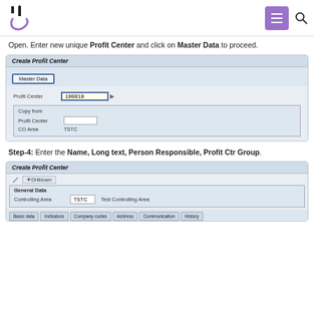tc [logo] [menu] [search]
Open. Enter new unique Profit Center and click on Master Data to proceed.
[Figure (screenshot): SAP Create Profit Center dialog with Master Data tab, Profit Center field showing 100010, Copy from section with Profit Center and CO Area (TSTC) fields]
Step-4: Enter the Name, Long text, Person Responsible, Profit Ctr Group.
[Figure (screenshot): SAP Create Profit Center screen showing General Data section with Controlling Area TSTC (Test Controlling Area) and tabs: Basic data, Indicators, Company codes, Address, Communication, History]